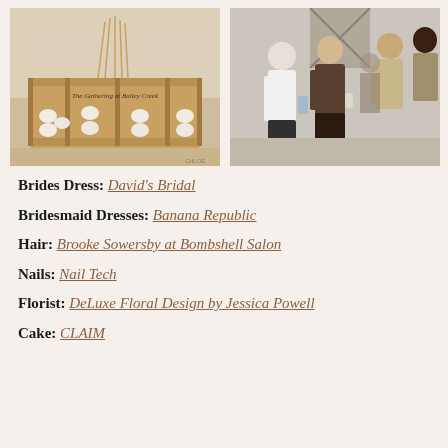[Figure (photo): A wooden crate display with compartments holding white eggs and reed diffuser sticks, with cursive text reading 'The Gathering at Bailey Creek']
[Figure (photo): Group of people socializing at an event, standing in a white barn-style venue, holding drinks]
Brides Dress: David's Bridal
Bridesmaid Dresses: Banana Republic
Hair: Brooke Sowersby at Bombshell Salon
Nails: Nail Tech
Florist: DeLuxe Floral Design by Jessica Powell
Cake: CLAIM (partially visible)